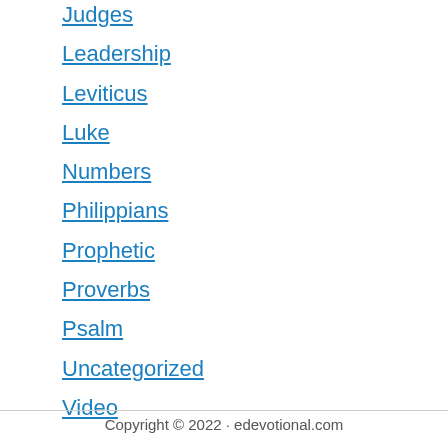Judges
Leadership
Leviticus
Luke
Numbers
Philippians
Prophetic
Proverbs
Psalm
Uncategorized
Video
Copyright © 2022 · edevotional.com